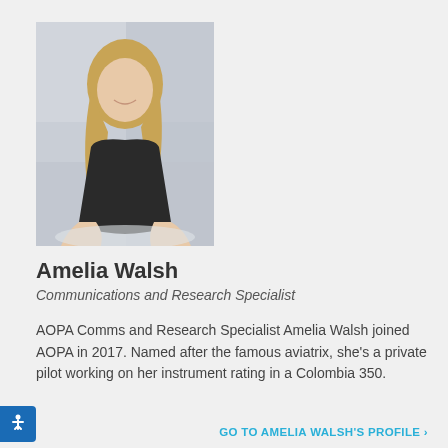[Figure (photo): Professional headshot of Amelia Walsh, a woman with long blonde hair wearing a black top, smiling and leaning on a surface, with a blurred light-colored background.]
Amelia Walsh
Communications and Research Specialist
AOPA Comms and Research Specialist Amelia Walsh joined AOPA in 2017. Named after the famous aviatrix, she's a private pilot working on her instrument rating in a Colombia 350.
GO TO AMELIA WALSH'S PROFILE ›